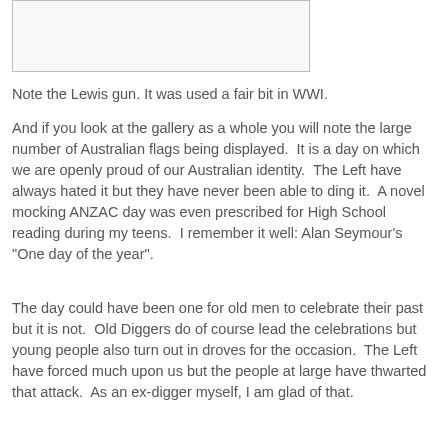[Figure (photo): Image placeholder at top of page, partially visible]
Note the Lewis gun. It was used a fair bit in WWI.
And if you look at the gallery as a whole you will note the large number of Australian flags being displayed.  It is a day on which we are openly proud of our Australian identity.  The Left have always hated it but they have never been able to ding it.  A novel mocking ANZAC day was even prescribed for High School reading during my teens.  I remember it well: Alan Seymour's "One day of the year".
The day could have been one for old men to celebrate their past but it is not.  Old Diggers do of course lead the celebrations but young people also turn out in droves for the occasion.  The Left have forced much upon us but the people at large have thwarted that attack.  As an ex-digger myself, I am glad of that.